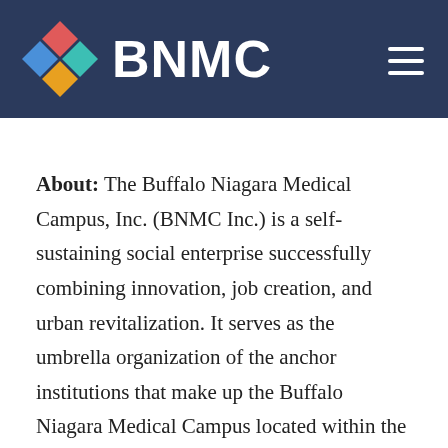[Figure (logo): BNMC logo with colorful diamond shapes (red, blue, teal, yellow) and white BNMC text on dark navy header background with hamburger menu icon]
About: The Buffalo Niagara Medical Campus, Inc. (BNMC Inc.) is a self-sustaining social enterprise successfully combining innovation, job creation, and urban revitalization. It serves as the umbrella organization of the anchor institutions that make up the Buffalo Niagara Medical Campus located within the 120-acre campus bordering Allentown, the Fruit Belt and Downtown. The BNMC Inc. fosters conversation and collaboration among its member institutions, its partners and the community to address critical issues impacting them, including